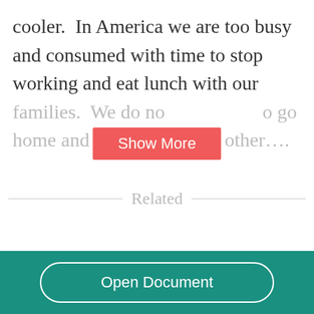cooler.  In America we are too busy and consumed with time to stop working and eat lunch with our families.  We do no… …o go home and take a nap or do other….
Related
Open Document